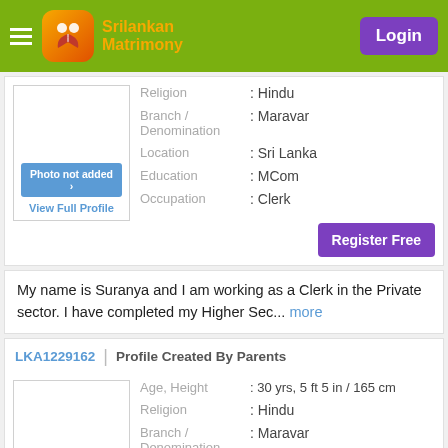SriLankan Matrimony — Login
Religion : Hindu
Branch / Denomination : Maravar
Location : Sri Lanka
Education : MCom
Occupation : Clerk
Photo not added
View Full Profile
Register Free
My name is Suranya and I am working as a Clerk in the Private sector. I have completed my Higher Sec... more
LKA1229162 | Profile Created By Parents
Age, Height : 30 yrs, 5 ft 5 in / 165 cm
Religion : Hindu
Branch / Denomination : Maravar